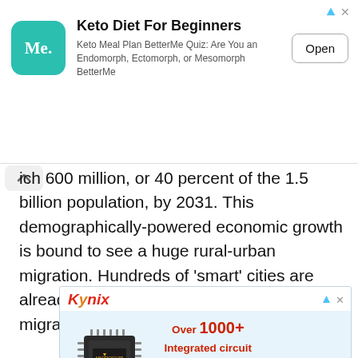[Figure (screenshot): Advertisement banner for Keto Diet For Beginners app by BetterMe, with teal rounded-square icon showing 'Me.' text, app title, description, and Open button]
ich 600 million, or 40 percent of the 1.5 billion population, by 2031. This demographically-powered economic growth is bound to see a huge rural-urban migration. Hundreds of ‘smart’ cities are already underway to capitalize on this migrating workforce.
[Figure (screenshot): Kynix advertisement showing a microchip product image with text: Over 1000+ Integrated circuit chip products are in stock and available now.]